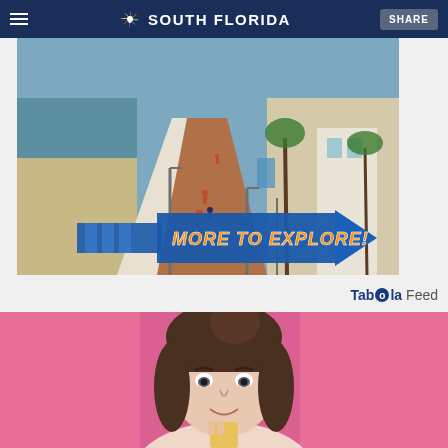NBC 6 SOUTH FLORIDA | SHARE
[Figure (photo): Aerial view of a beachside promenade/boardwalk in South Florida with people walking and cycling, ocean visible on the left, buildings on the right, with a 'MORE TO EXPLORE!' arrow overlay graphic in orange and blue]
Taboola Feed
[Figure (photo): Close-up photo of a young woman with brunette hair and bangs, smiling slightly, against a pink background, holding what appears to be a small square item]